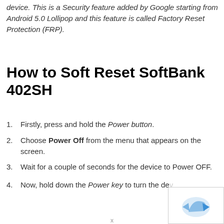device. This is a Security feature added by Google starting from Android 5.0 Lollipop and this feature is called Factory Reset Protection (FRP).
How to Soft Reset SoftBank 402SH
Firstly, press and hold the Power button.
Choose Power Off from the menu that appears on the screen.
Wait for a couple of seconds for the device to Power OFF.
Now, hold down the Power key to turn the device ON.